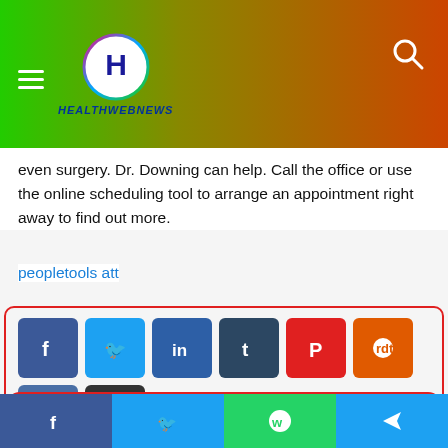HEALTHWEBNEWS
even surgery. Dr. Downing can help. Call the office or use the online scheduling tool to arrange an appointment right away to find out more.
peopletools att
[Figure (infographic): Social share buttons: Facebook, Twitter, LinkedIn, Tumblr, Pinterest, Reddit, VK, Email, Print]
[Figure (photo): Partial image of a person's head visible at bottom of page]
Facebook | Twitter | WhatsApp | Telegram share bar